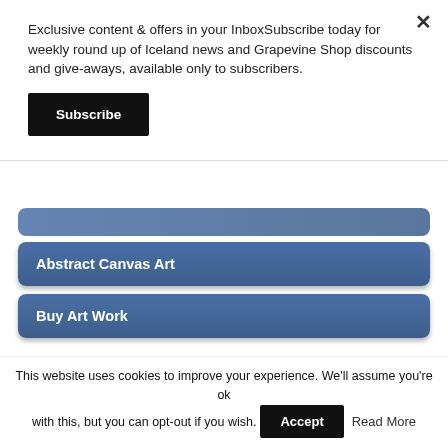Exclusive content & offers in your InboxSubscribe today for weekly round up of Iceland news and Grapevine Shop discounts and give-aways, available only to subscribers.
Subscribe
Abstract Canvas Art
Buy Art Work
[Figure (illustration): Red banner advertisement for Fjalla hiking tours with text 'Hiking to the eruption' and mountain logo]
This website uses cookies to improve your experience. We'll assume you're ok with this, but you can opt-out if you wish.   Accept   Read More